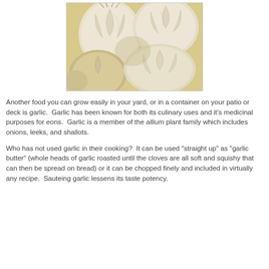[Figure (photo): Close-up photograph of several white garlic bulbs clustered together, showing papery skin texture and dried roots.]
Another food you can grow easily in your yard, or in a container on your patio or deck is garlic.  Garlic has been known for both its culinary uses and it's medicinal purposes for eons.  Garlic is a member of the allium plant family which includes onions, leeks, and shallots.
Who has not used garlic in their cooking?  It can be used "straight up" as "garlic butter" (whole heads of garlic roasted until the cloves are all soft and squishy that can then be spread on bread) or it can be chopped finely and included in virtually any recipe.  Sauteing garlic lessens its taste potency.